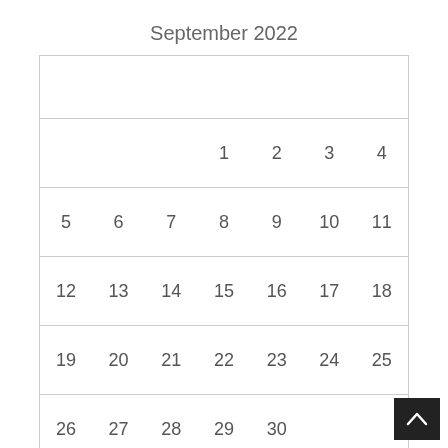September 2022
|  |  |  |  |  |  |  |
| --- | --- | --- | --- | --- | --- | --- |
|  |  |  |  |  |  |  |
|  |  |  | 1 | 2 | 3 | 4 |
| 5 | 6 | 7 | 8 | 9 | 10 | 11 |
| 12 | 13 | 14 | 15 | 16 | 17 | 18 |
| 19 | 20 | 21 | 22 | 23 | 24 | 25 |
| 26 | 27 | 28 | 29 | 30 |  |  |
« Aug
[Figure (other): Back to top button — dark square with upward-pointing chevron arrow]